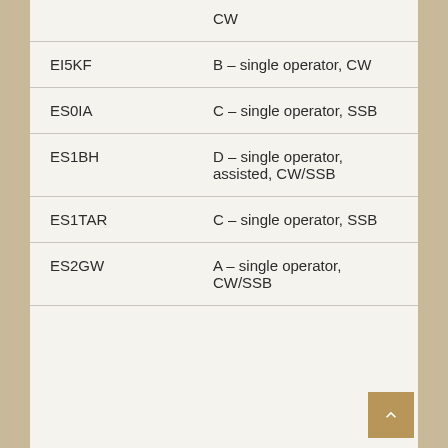| Call Sign | Category |
| --- | --- |
|  | CW |
| EI5KF | B – single operator, CW |
| ES0IA | C – single operator, SSB |
| ES1BH | D – single operator, assisted, CW/SSB |
| ES1TAR | C – single operator, SSB |
| ES2GW | A – single operator, CW/SSB |